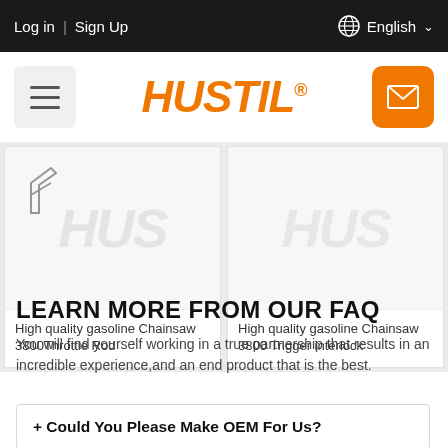Log in | Sign Up    English
[Figure (logo): HUSTIL brand logo in orange italic bold font with registered trademark symbol, flanked by a hamburger menu button on the left and an orange mail/envelope button on the right]
[Figure (photo): Product card showing partial image with HUS watermark - High quality gasoline Chainsaw 3800 Throttle Rod]
High quality gasoline Chainsaw 3800Throttle Rod
[Figure (photo): Product card showing partial image with HUS watermark - High quality gasoline Chainsaw 3800 Trigger interlock]
High quality gasoline Chainsaw 3800 Trigger interlock
LEARN MORE FROM OUR FAQ
You will find yourself working in a true partnership that results in an incredible experience,and an end product that is the best.
+ Could You Please Make OEM For Us?